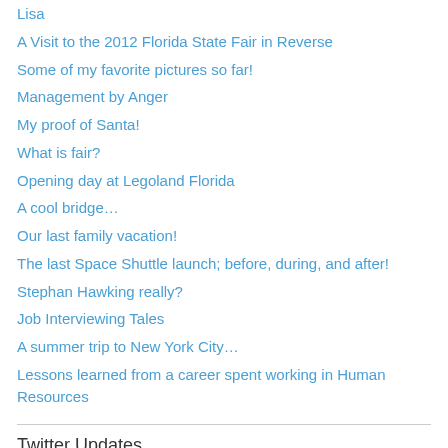Lisa
A Visit to the 2012 Florida State Fair in Reverse
Some of my favorite pictures so far!
Management by Anger
My proof of Santa!
What is fair?
Opening day at Legoland Florida
A cool bridge…
Our last family vacation!
The last Space Shuttle launch; before, during, and after!
Stephan Hawking really?
Job Interviewing Tales
A summer trip to New York City…
Lessons learned from a career spent working in Human Resources
Twitter Updates
US Job Openings Unexpectedly Rise to 11.2 Million, Near a Record
yahoo.com/finance/news/u… #tuesdayvibe #careers #job #workout #life